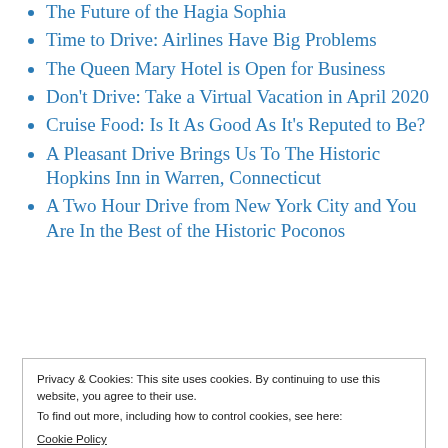The Future of the Hagia Sophia
Time to Drive: Airlines Have Big Problems
The Queen Mary Hotel is Open for Business
Don't Drive: Take a Virtual Vacation in April 2020
Cruise Food: Is It As Good As It's Reputed to Be?
A Pleasant Drive Brings Us To The Historic Hopkins Inn in Warren, Connecticut
A Two Hour Drive from New York City and You Are In the Best of the Historic Poconos
Privacy & Cookies: This site uses cookies. By continuing to use this website, you agree to their use.
To find out more, including how to control cookies, see here: Cookie Policy
Best Places to Stay Along the Northern